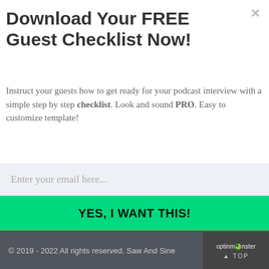Download Your FREE Guest Checklist Now!
Instruct your guests how to get ready for your podcast interview with a simple step by step checklist. Look and sound PRO. Easy to customize template!
Enter your email here...
YES, I WANT THIS!
[Figure (illustration): Blue microphone icon on red background]
© 2019 - 2022 All rights reserved. Saw And Sine
[Figure (logo): OptinMonster logo with TOP navigation button]